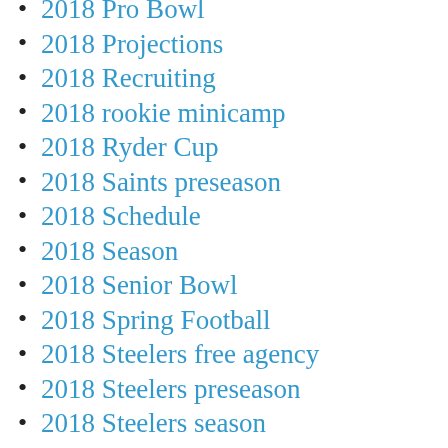2018 Pro Bowl
2018 Projections
2018 Recruiting
2018 rookie minicamp
2018 Ryder Cup
2018 Saints preseason
2018 Schedule
2018 Season
2018 Senior Bowl
2018 Spring Football
2018 Steelers free agency
2018 Steelers preseason
2018 Steelers season
2018 Steelers training camp
2018 Steelers vs Bengals NFL Week 6
2018 Steelers vs Browns NFL week 8
2018 Steelers vs Buccaneers...